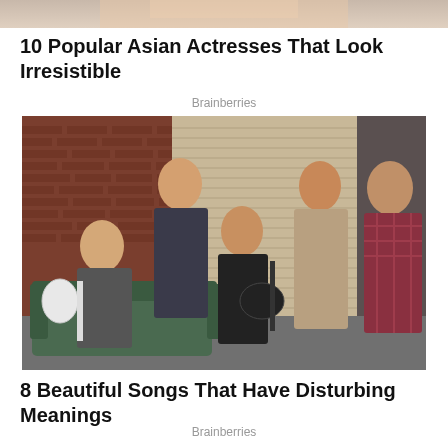[Figure (photo): Partial photo of Asian actress, cropped at top of page]
10 Popular Asian Actresses That Look Irresistible
Brainberries
[Figure (photo): Group photo of five men (a rock band) posing in a room with brick walls and a metal shutter. Two men are seated with guitars, three are standing. The man on the left seated has a white electric guitar; the man in the center seated holds a black electric guitar.]
8 Beautiful Songs That Have Disturbing Meanings
Brainberries